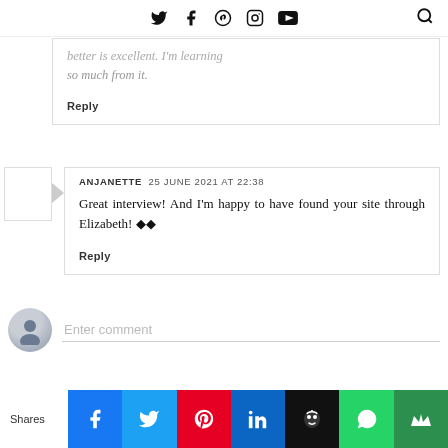Twitter Facebook Pinterest Instagram YouTube [Search]
so much from it.
Reply
ANJANETTE  25 JUNE 2021 AT 22:38
Great interview! And I'm happy to have found your site through Elizabeth! ◆◆
Reply
Enter comment
Shares